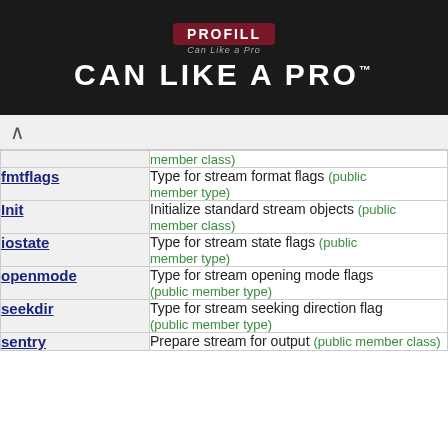[Figure (photo): Advertisement banner: PROFILL Can Like A Pro]
| Name | Description |
| --- | --- |
|  | (public member class) |
| fmtflags | Type for stream format flags (public member type) |
| Init | Initialize standard stream objects (public member class) |
| iostate | Type for stream state flags (public member type) |
| openmode | Type for stream opening mode flags (public member type) |
| seekdir | Type for stream seeking direction flag (public member type) |
| sentry | Prepare stream for output (public member class) |